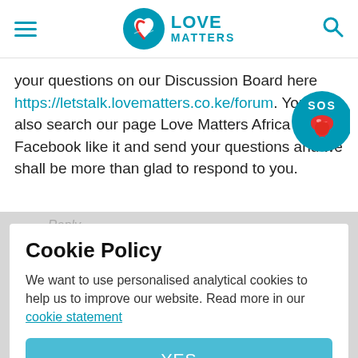Love Matters
your questions on our Discussion Board here https://letstalk.lovematters.co.ke/forum. You can also search our page Love Matters Africa on Facebook like it and send your questions and we shall be more than glad to respond to you.
[Figure (logo): SOS badge with lips icon]
Cookie Policy
We want to use personalised analytical cookies to help us to improve our website. Read more in our cookie statement
YES